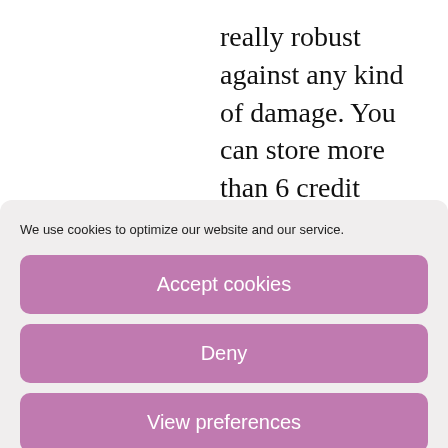really robust against any kind of damage. You can store more than 6 credit cards or any kind of cards in it. It also has a slot for banknotes and coins. You also have a slot for your ID holder and another three multifunctional pockets to store
We use cookies to optimize our website and our service.
Accept cookies
Deny
View preferences
Cookie Policy   Privacy Policy